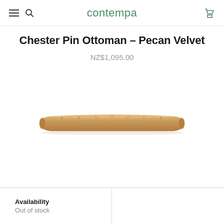contempa
Chester Pin Ottoman - Pecan Velvet
NZ$1,095.00
[Figure (photo): Side view of a pecan velvet ottoman - a flat, wide rectangular upholstered bench with tufted top surface in a warm tan/pecan colour, photographed against a white background]
Availability
Out of stock